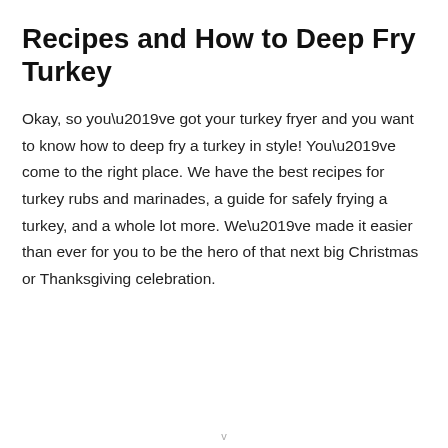Recipes and How to Deep Fry Turkey
Okay, so you’ve got your turkey fryer and you want to know how to deep fry a turkey in style! You’ve come to the right place. We have the best recipes for turkey rubs and marinades, a guide for safely frying a turkey, and a whole lot more. We’ve made it easier than ever for you to be the hero of that next big Christmas or Thanksgiving celebration.
v